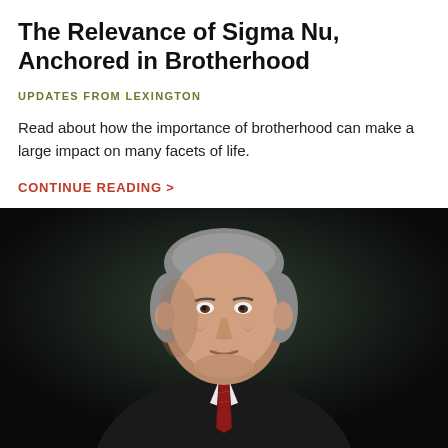The Relevance of Sigma Nu, Anchored in Brotherhood
UPDATES FROM LEXINGTON
Read about how the importance of brotherhood can make a large impact on many facets of life.
CONTINUE READING >
[Figure (photo): Professional portrait of an older gentleman with grey hair, wearing a dark suit jacket, white shirt, and red striped tie, photographed against a dark green/black background.]